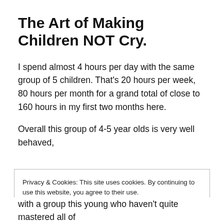The Art of Making Children NOT Cry.
I spend almost 4 hours per day with the same group of 5 children. That’s 20 hours per week, 80 hours per month for a grand total of close to 160 hours in my first two months here.
Overall this group of 4-5 year olds is very well behaved,
Privacy & Cookies: This site uses cookies. By continuing to use this website, you agree to their use.
To find out more, including how to control cookies, see here: Cookie Policy
with a group this young who haven’t quite mastered all of